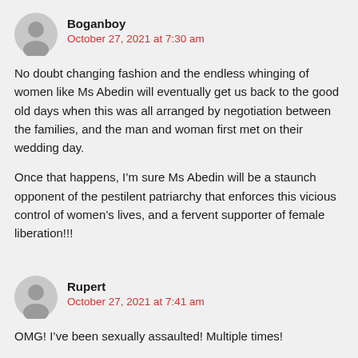Boganboy
October 27, 2021 at 7:30 am
No doubt changing fashion and the endless whinging of women like Ms Abedin will eventually get us back to the good old days when this was all arranged by negotiation between the families, and the man and woman first met on their wedding day.
Once that happens, I’m sure Ms Abedin will be a staunch opponent of the pestilent patriarchy that enforces this vicious control of women’s lives, and a fervent supporter of female liberation!!!
Rupert
October 27, 2021 at 7:41 am
OMG! I’ve been sexually assaulted! Multiple times!